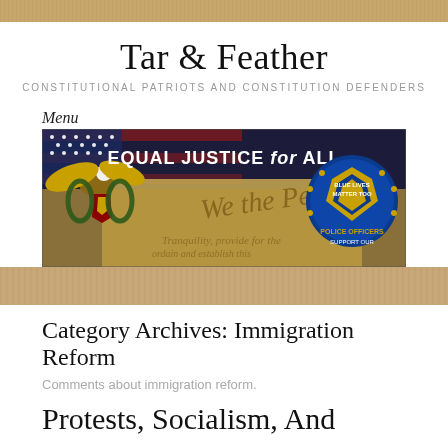Tar & Feather
CONSTITUTIONAL PATRIOTS AND CONSTITUTION DEFENDERS
Menu
[Figure (illustration): Banner image with American flag, eagle with laurels and shield, text 'EQUAL JUSTICE FOR ALL', Constitution 'We the People' parchment background, and a blue police badge reading 'Support Our Police Officers, Blue Lives Matter Too']
Category Archives: Immigration Reform
Comments about immigration reform.
Protests, Socialism, And